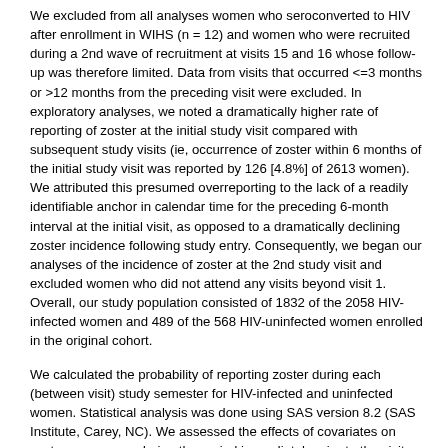We excluded from all analyses women who seroconverted to HIV after enrollment in WIHS (n = 12) and women who were recruited during a 2nd wave of recruitment at visits 15 and 16 whose follow-up was therefore limited. Data from visits that occurred <=3 months or >12 months from the preceding visit were excluded. In exploratory analyses, we noted a dramatically higher rate of reporting of zoster at the initial study visit compared with subsequent study visits (ie, occurrence of zoster within 6 months of the initial study visit was reported by 126 [4.8%] of 2613 women). We attributed this presumed overreporting to the lack of a readily identifiable anchor in calendar time for the preceding 6-month interval at the initial visit, as opposed to a dramatically declining zoster incidence following study entry. Consequently, we began our analyses of the incidence of zoster at the 2nd study visit and excluded women who did not attend any visits beyond visit 1. Overall, our study population consisted of 1832 of the 2058 HIV-infected women and 489 of the 568 HIV-uninfected women enrolled in the original cohort.
We calculated the probability of reporting zoster during each (between visit) study semester for HIV-infected and uninfected women. Statistical analysis was done using SAS version 8.2 (SAS Institute, Carey, NC). We assessed the effects of covariates on zoster occurrence during the period immediately prior to the visit using generalized estimating equations (GEE)14 with a logit link function, fit using all visits of each person (the cluster) as separate observations. In these models, each visit at which zoster was reported was counted as a separate event for a given subject.
Predictor variables included age, log CD8 cell count, CD4 cell count, and log HIV RNA level from the visit. Although the distribution of CD4 and CD8 cell counts were both skewed, log transformation of CD4 cell counts worsened